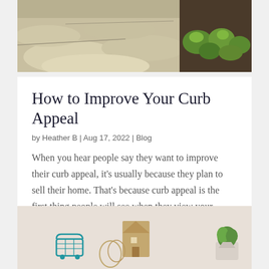[Figure (photo): Outdoor stone pathway with curved flagstone steps and green shrubs/landscaping with dark mulch on the right side]
How to Improve Your Curb Appeal
by Heather B | Aug 17, 2022 | Blog
When you hear people say they want to improve their curb appeal, it's usually because they plan to sell their home. That's because curb appeal is the first thing people will see when they view your space. If you keep it clean and welcoming, you can make sure your...
[Figure (photo): Interior home decor scene with a small shopping cart figurine, wire basket, wooden house ornament, and small potted green succulent plant]